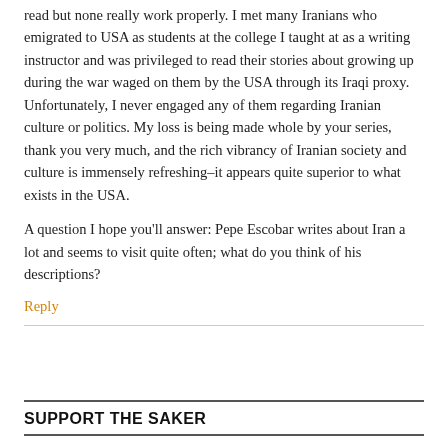read but none really work properly. I met many Iranians who emigrated to USA as students at the college I taught at as a writing instructor and was privileged to read their stories about growing up during the war waged on them by the USA through its Iraqi proxy. Unfortunately, I never engaged any of them regarding Iranian culture or politics. My loss is being made whole by your series, thank you very much, and the rich vibrancy of Iranian society and culture is immensely refreshing–it appears quite superior to what exists in the USA.
A question I hope you'll answer: Pepe Escobar writes about Iran a lot and seems to visit quite often; what do you think of his descriptions?
Reply
SUPPORT THE SAKER
[Figure (logo): Partial orange/golden arc logo at the bottom of the page]